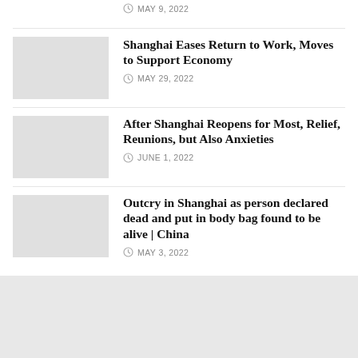[Figure (photo): Partial top of page: thumbnail image of people on a road, mostly cut off]
MAY 9, 2022
[Figure (photo): Gray placeholder thumbnail for Shanghai economy article]
Shanghai Eases Return to Work, Moves to Support Economy
MAY 29, 2022
[Figure (photo): Gray placeholder thumbnail for Shanghai reopens article]
After Shanghai Reopens for Most, Relief, Reunions, but Also Anxieties
JUNE 1, 2022
[Figure (photo): Gray placeholder thumbnail for Shanghai body bag article]
Outcry in Shanghai as person declared dead and put in body bag found to be alive | China
MAY 3, 2022
[Figure (logo): Asia Post globe logo with blue globe graphic and ASIA POST text]